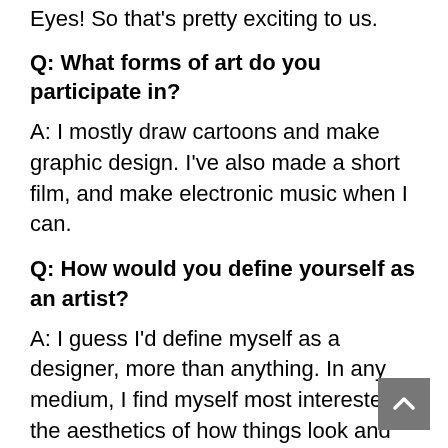Eyes! So that's pretty exciting to us.
Q: What forms of art do you participate in?
A: I mostly draw cartoons and make graphic design. I've also made a short film, and make electronic music when I can.
Q: How would you define yourself as an artist?
A: I guess I'd define myself as a designer, more than anything. In any medium, I find myself most interested in the aesthetics of how things look and sound, the minutiae of things like texture, color-temperature, & composition. That's kind of a through-line